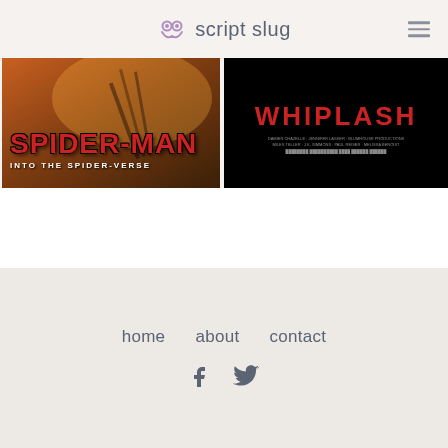script slug
[Figure (photo): Movie thumbnail for Spider-Man: Into the Spider-Verse showing red title text on a warm orange/brown background with 'INTO THE SPIDER-VERSE' subtitle]
[Figure (photo): Movie thumbnail for Whiplash showing red bold title text on a black background with small credits text below]
home   about   contact